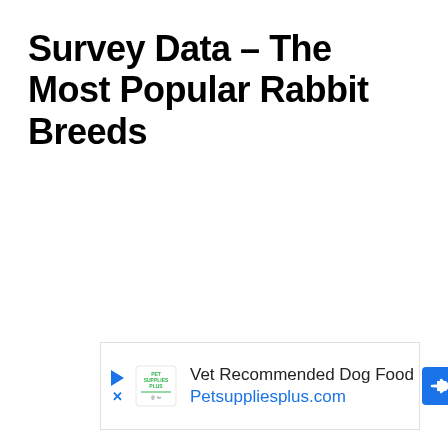Survey Data – The Most Popular Rabbit Breeds
[Figure (other): Advertisement banner: Pet Supplies Plus logo with play and X icons on the left, text 'Vet Recommended Dog Food' and 'Petsuppliesplus.com' in center, blue directional sign arrow icon on right.]